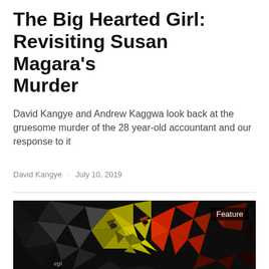The Big Hearted Girl: Revisiting Susan Magara's Murder
David Kangye and Andrew Kaggwa look back at the gruesome murder of the 28 year-old accountant and our response to it
David Kangye · July 10, 2019
[Figure (illustration): Low-poly geometric digital portrait illustration of a person's face, rendered in black, grey, yellow, and red triangular polygons against a dark background. The word 'Feature' appears in white text in the upper right corner of the image. Artist signature 'egi' visible in lower left.]